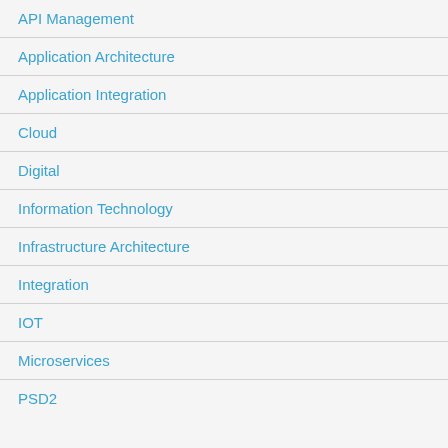API Management
Application Architecture
Application Integration
Cloud
Digital
Information Technology
Infrastructure Architecture
Integration
IOT
Microservices
PSD2